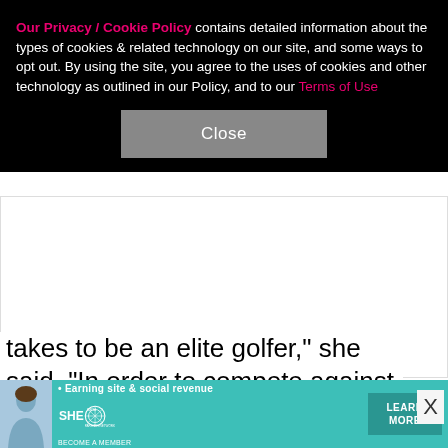Our Privacy / Cookie Policy contains detailed information about the types of cookies & related technology on our site, and some ways to opt out. By using the site, you agree to the uses of cookies and other technology as outlined in our Policy, and to our Terms of Use
Close
takes to be an elite golfer," she said. "In order to compete against these amazing female athletes, I will need to continue to work hard on my game, which I fu
X
[Figure (infographic): SHE Media Partner Network advertisement banner with teal background, woman photo on left, tagline '• Earning site & social revenue', SHE logo, and 'LEARN MORE' button on right]